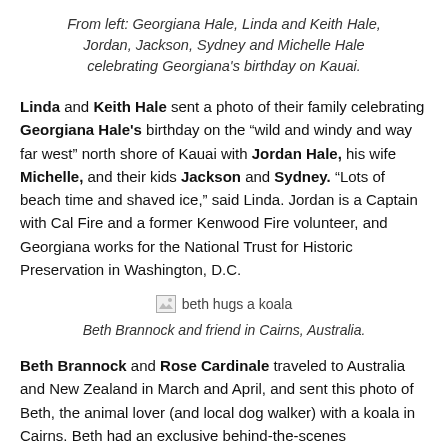From left: Georgiana Hale, Linda and Keith Hale, Jordan, Jackson, Sydney and Michelle Hale celebrating Georgiana's birthday on Kauai.
Linda and Keith Hale sent a photo of their family celebrating Georgiana Hale's birthday on the “wild and windy and way far west” north shore of Kauai with Jordan Hale, his wife Michelle, and their kids Jackson and Sydney. “Lots of beach time and shaved ice,” said Linda. Jordan is a Captain with Cal Fire and a former Kenwood Fire volunteer, and Georgiana works for the National Trust for Historic Preservation in Washington, D.C.
[Figure (photo): Photo of beth hugging a koala in Cairns, Australia (shown as broken image placeholder with alt text)]
Beth Brannock and friend in Cairns, Australia.
Beth Brannock and Rose Cardinale traveled to Australia and New Zealand in March and April, and sent this photo of Beth, the animal lover (and local dog walker) with a koala in Cairns. Beth had an exclusive behind-the-scenes